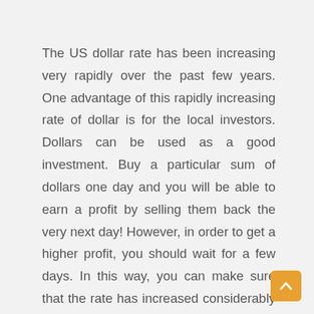The US dollar rate has been increasing very rapidly over the past few years. One advantage of this rapidly increasing rate of dollar is for the local investors. Dollars can be used as a good investment. Buy a particular sum of dollars one day and you will be able to earn a profit by selling them back the very next day! However, in order to get a higher profit, you should wait for a few days. In this way, you can make sure that the rate has increased considerably and therefore you will be able to generate more profit by selling the dollars. You can keep checking the dollar rate